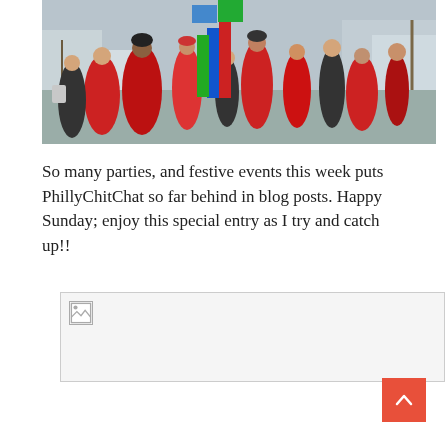[Figure (photo): Outdoor crowd scene in a city plaza. Many people wearing red jackets and coats. Colorful large sculpture visible in background. Winter scene with bare trees and city buildings.]
So many parties, and festive events this week puts PhillyChitChat so far behind in blog posts. Happy Sunday; enjoy this special entry as I try and catch up!!
[Figure (photo): Broken/missing image placeholder with small icon in top-left corner.]